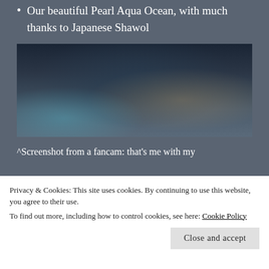Our beautiful Pearl Aqua Ocean, with much thanks to Japanese Shawol
[Figure (photo): A crowd of concert fans holding up signs and banners, taken from a fancam perspective. The image is slightly blurry with people raising signs overhead in a dark venue.]
^Screenshot from a fancam: that's me with my
Privacy & Cookies: This site uses cookies. By continuing to use this website, you agree to their use.
To find out more, including how to control cookies, see here: Cookie Policy
Close and accept